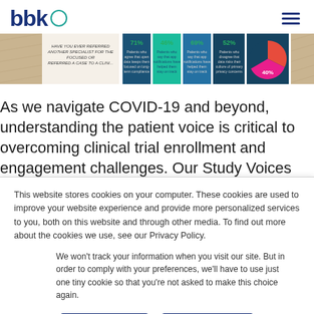bbk
[Figure (infographic): A wide banner showing portions of a clinical trial infographic with statistics like 71%, 46%, 69%, 52% and a donut chart showing 40%+, related to patient experience in clinical trials.]
As we navigate COVID-19 and beyond, understanding the patient voice is critical to overcoming clinical trial enrollment and engagement challenges. Our Study Voices infographic
This website stores cookies on your computer. These cookies are used to improve your website experience and provide more personalized services to you, both on this website and through other media. To find out more about the cookies we use, see our Privacy Policy.
We won't track your information when you visit our site. But in order to comply with your preferences, we'll have to use just one tiny cookie so that you're not asked to make this choice again.